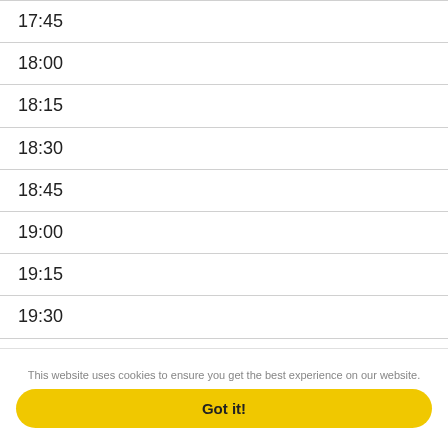17:45
18:00
18:15
18:30
18:45
19:00
19:15
19:30
19:45
20:00
This website uses cookies to ensure you get the best experience on our website.
Got it!